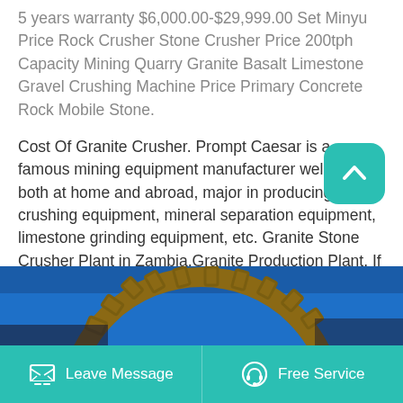5 years warranty $6,000.00-$29,999.00 Set Minyu Price Rock Crusher Stone Crusher Price 200tph Capacity Mining Quarry Granite Basalt Limestone Gravel Crushing Machine Price Primary Concrete Rock Mobile Stone.
Cost Of Granite Crusher. Prompt Caesar is a famous mining equipment manufacturer well-known both at home and abroad, major in producing stone crushing equipment, mineral separation equipment, limestone grinding equipment, etc. Granite Stone Crusher Plant in Zambia,Granite Production Plant. If you want to know portable granite stone crusher.
[Figure (photo): Partial view of a large industrial gear/crusher machine component against a blue sky background]
Leave Message    Free Service